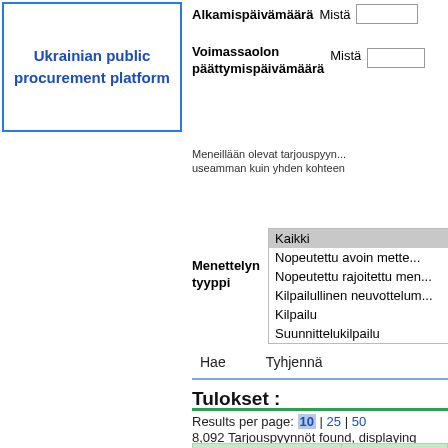[Figure (other): Ukrainian public procurement platform - blue bordered box with bold blue text]
Alkamispäivämäärä   Mistä [input]
Voimassaolon päättymispäivämäärä   Mistä [input]
Meneillään olevat tarjouspyyn... useamman kuin yhden kohteen
Menettelyn tyyppi
Kaikki
Nopeutettu avoin mene...
Nopeutettu rajoitettu men...
Kilpailullinen neuvottelum...
Kilpailu
Suunnittelukilpailu
Hae    Tyhjennä
Tulokset :
Results per page: 10 | 25 | 50
8,092 Tarjouspyynnöt found, displaying 4,99...
| Tarjouspyynnön viitenumero | Otsikke... |
| --- | --- |
| INTPA/FNA/2021/EA- | Supply, Deliv... |